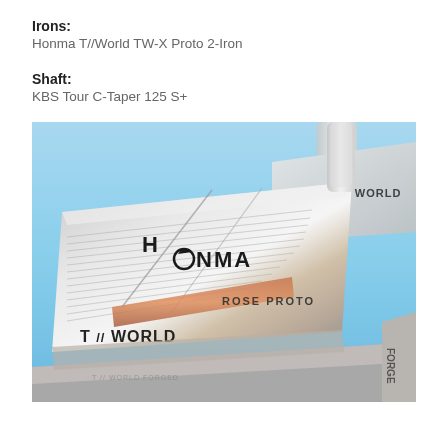Irons:
Honma T//World TW-X Proto 2-Iron
Shaft:
KBS Tour C-Taper 125 S+
[Figure (photo): Close-up photograph of Honma T//World Rose Proto forged iron golf clubs, showing the polished chrome club heads with 'HONMA' and 'ROSE PROTO' and 'T//WORLD' engravings, set against a light blue sky background.]